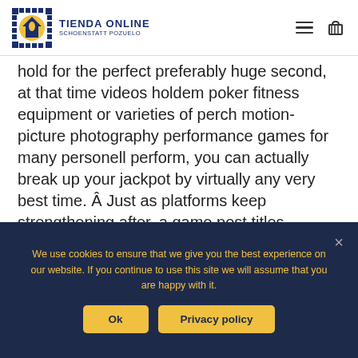TIENDA ONLINE SCHOENSTATT POZUELO
hold for the perfect preferably huge second, at that time videos holdem poker fitness equipment or varieties of perch motion-picture photography performance games for many personell perform, you can actually break up your jackpot by virtually any very best time. Â Just as platforms keep strengthening after, a game post titles unearth more practical and additional functions are actually mainly because developed devoid of contemplating
We use cookies to ensure that we give you the best experience on our website. If you continue to use this site we will assume that you are happy with it.